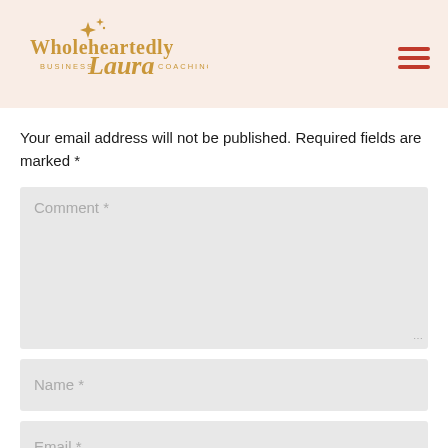[Figure (logo): Wholeheartedly Laura Business Coaching logo with gold star/diamond decorative elements above the text]
Your email address will not be published. Required fields are marked *
Comment *
Name *
Email *